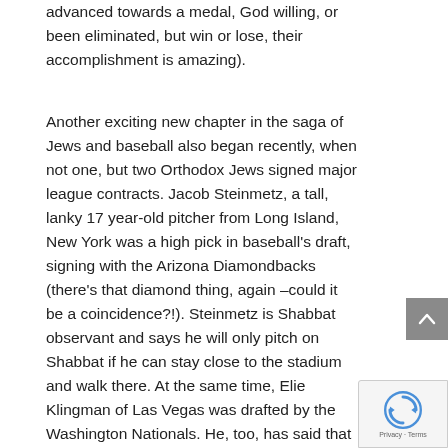advanced towards a medal, God willing, or been eliminated, but win or lose, their accomplishment is amazing).
Another exciting new chapter in the saga of Jews and baseball also began recently, when not one, but two Orthodox Jews signed major league contracts. Jacob Steinmetz, a tall, lanky 17 year-old pitcher from Long Island, New York was a high pick in baseball's draft, signing with the Arizona Diamondbacks (there's that diamond thing, again –could it be a coincidence?!). Steinmetz is Shabbat observant and says he will only pitch on Shabbat if he can stay close to the stadium and walk there. At the same time, Elie Klingman of Las Vegas was drafted by the Washington Nationals. He, too, has said that he